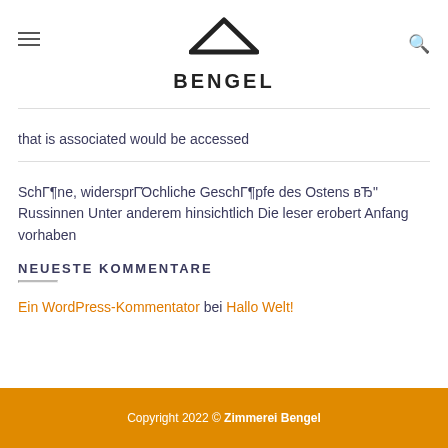BENGEL (logo with house icon)
that is associated would be accessed
SchΓ¶ne, widersprΓΌchliche GeschΓ¶pfe des Ostens вЂ" Russinnen Unter anderem hinsichtlich Die leser erobert Anfang vorhaben
NEUESTE KOMMENTARE
Ein WordPress-Kommentator bei Hallo Welt!
Copyright 2022 © Zimmerei Bengel